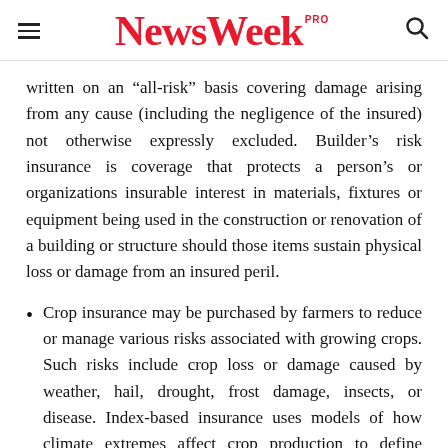NewsWeek PRO
written on an “all-risk” basis covering damage arising from any cause (including the negligence of the insured) not otherwise expressly excluded. Builder’s risk insurance is coverage that protects a person’s or organizations insurable interest in materials, fixtures or equipment being used in the construction or renovation of a building or structure should those items sustain physical loss or damage from an insured peril.
Crop insurance may be purchased by farmers to reduce or manage various risks associated with growing crops. Such risks include crop loss or damage caused by weather, hail, drought, frost damage, insects, or disease. Index-based insurance uses models of how climate extremes affect crop production to define certain climate